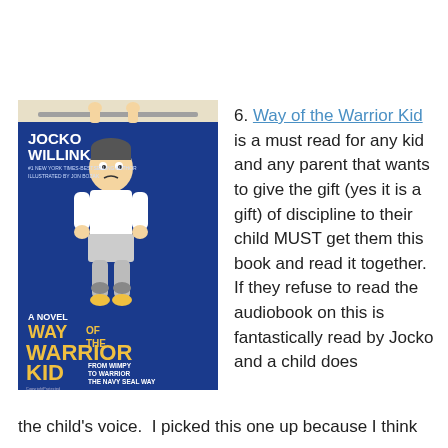[Figure (illustration): Book cover of 'Way of the Warrior Kid' by Jocko Willink, illustrated by Jon Bozak. Blue background with a cartoon boy hanging from a bar at top. Text: JOCKO WILLINK, #1 NEW YORK TIMES-BESTSELLING AUTHOR, ILLUSTRATED BY JON BOZAK, A NOVEL, WAY OF THE WARRIOR KID, FROM WIMPY TO WARRIOR THE NAVY SEAL WAY.]
6. Way of the Warrior Kid is a must read for any kid and any parent that wants to give the gift (yes it is a gift) of discipline to their child MUST get them this book and read it together.  If they refuse to read the audiobook on this is fantastically read by Jocko and a child does the child's voice.  I picked this one up because I think